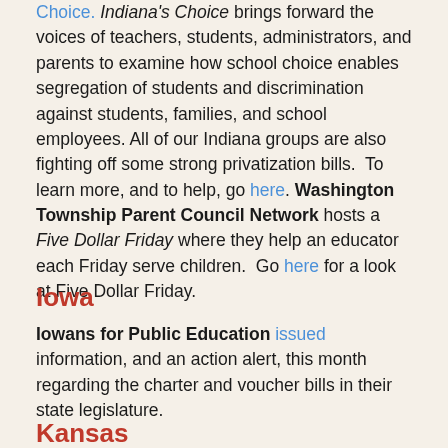Choice. Indiana's Choice brings forward the voices of teachers, students, administrators, and parents to examine how school choice enables segregation of students and discrimination against students, families, and school employees. All of our Indiana groups are also fighting off some strong privatization bills. To learn more, and to help, go here. Washington Township Parent Council Network hosts a Five Dollar Friday where they help an educator each Friday serve children. Go here for a look at Five Dollar Friday.
Iowa
Iowans for Public Education issued information, and an action alert, this month regarding the charter and voucher bills in their state legislature.
Kansas